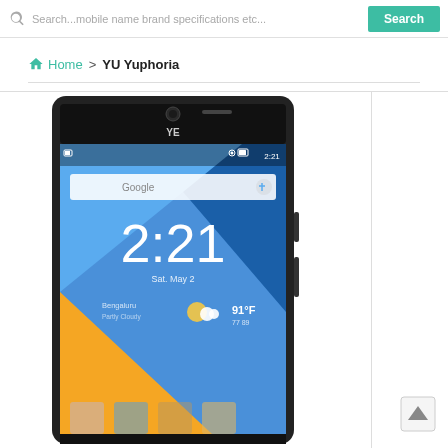Search...mobile name brand specifications etc...
Home > YU Yuphoria
[Figure (screenshot): YU Yuphoria smartphone front view showing Android home screen with Google search bar, time 2:21, date Sat. May 2, weather Bengaluru 91°F]